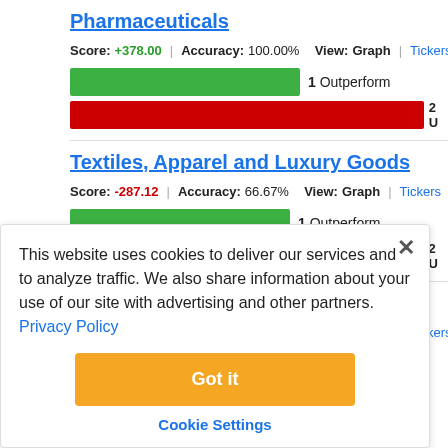Pharmaceuticals
Score: +378.00 | Accuracy: 100.00% View: Graph | Tickers
[Figure (bar-chart): Pharmaceuticals bars]
Textiles, Apparel and Luxury Goods
Score: -287.12 | Accuracy: 66.67% View: Graph | Tickers
[Figure (bar-chart): Textiles bars]
Multiline Retail
Score: +617.14 | Accuracy: 100.00% View: Graph | Tickers
This website uses cookies to deliver our services and to analyze traffic. We also share information about your use of our site with advertising and other partners. Privacy Policy
Got it
Cookie Settings